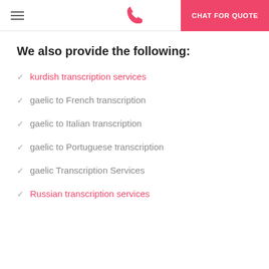CHAT FOR QUOTE
We also provide the following:
kurdish transcription services
gaelic to French transcription
gaelic to Italian transcription
gaelic to Portuguese transcription
gaelic Transcription Services
Russian transcription services